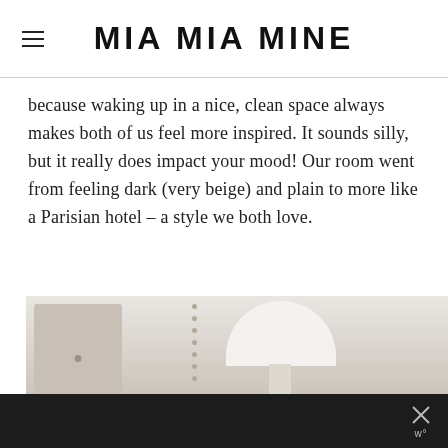MIA MIA MINE
because waking up in a nice, clean space always makes both of us feel more inspired. It sounds silly, but it really does impact your mood! Our room went from feeling dark (very beige) and plain to more like a Parisian hotel – a style we both love.
[Figure (photo): Bedroom photo showing a tufted headboard, a beaded strand, and a white lamp on a bedside table against a light neutral wall. Bottom portion shows a dark bar with an X close button and a W logo.]